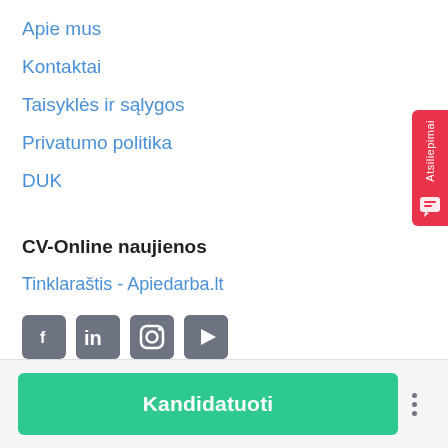Apie mus
Kontaktai
Taisyklės ir sąlygos
Privatumo politika
DUK
CV-Online naujienos
Tinklaraštis - Apiedarba.lt
[Figure (other): Social media icons: Facebook, LinkedIn, Instagram, YouTube]
[Figure (other): Red side tab with text 'Atsiliepimai' and chat icon]
Kandidatuoti